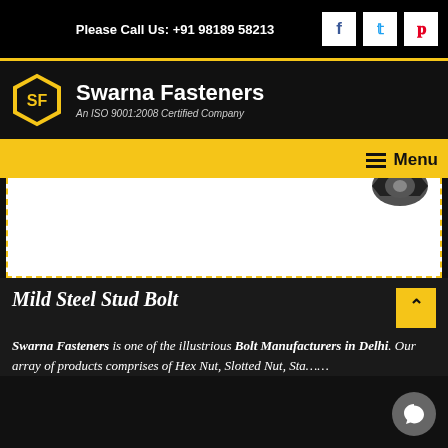Please Call Us: +91 98189 58213
Swarna Fasteners — An ISO 9001:2008 Certified Company
[Figure (photo): Mild Steel Stud Bolt product photo — a dark metal bolt/stud against white background]
Mild Steel Stud Bolt
Swarna Fasteners is one of the illustrious Bolt Manufacturers in Delhi. Our array of products comprises of Hex Nut, Slotted Nut, Sta……